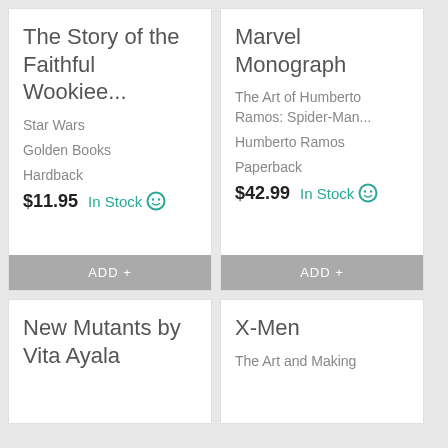The Story of the Faithful Wookiee...
Star Wars
Golden Books
Hardback
$11.95  In Stock
ADD +
Marvel Monograph
The Art of Humberto Ramos: Spider-Man...
Humberto Ramos
Paperback
$42.99  In Stock
ADD +
New Mutants by Vita Ayala
X-Men
The Art and Making